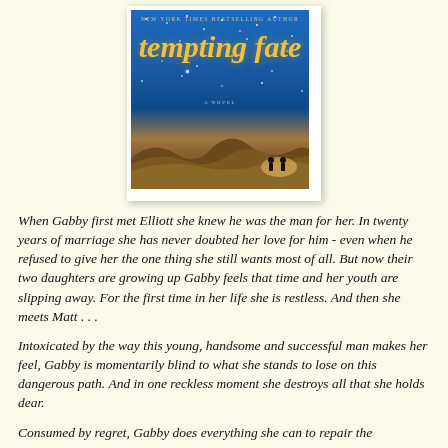[Figure (illustration): Book cover for 'Tempting Fate' by a New York Times bestselling author. Dark blue starry night sky background with gold italic script title 'tempting fate', two figures silhouetted against a warm glowing light in a field, subtitle 'A Novel'.]
When Gabby first met Elliott she knew he was the man for her. In twenty years of marriage she has never doubted her love for him - even when he refused to give her the one thing she still wants most of all. But now their two daughters are growing up Gabby feels that time and her youth are slipping away. For the first time in her life she is restless. And then she meets Matt . . .
Intoxicated by the way this young, handsome and successful man makes her feel, Gabby is momentarily blind to what she stands to lose on this dangerous path. And in one reckless moment she destroys all that she holds dear.
Consumed by regret, Gabby does everything she can to repair the